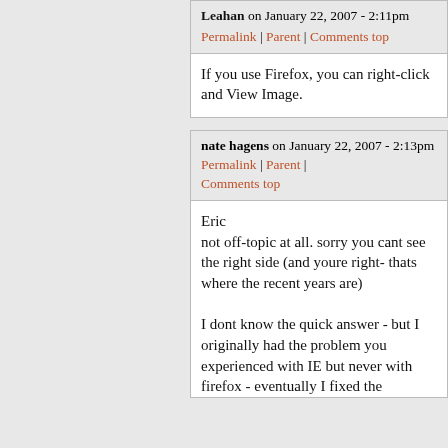Leahan on January 22, 2007 - 2:11pm Permalink | Parent | Comments top
If you use Firefox, you can right-click and View Image.
nate hagens on January 22, 2007 - 2:13pm Permalink | Parent | Comments top
Eric
not off-topic at all. sorry you cant see the right side (and youre right- thats where the recent years are)

I dont know the quick answer - but I originally had the problem you experienced with IE but never with firefox - eventually I fixed the